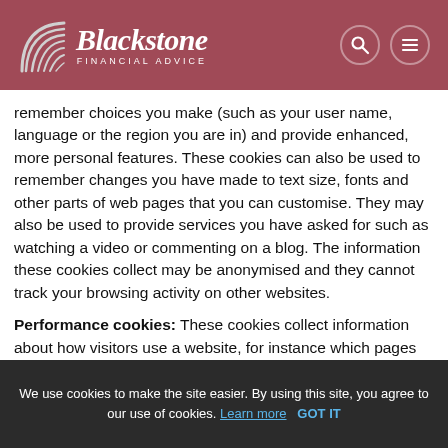[Figure (logo): Blackstone Financial Advice logo with arc/fan graphic and text on dark rose/mauve header background with search and menu icons]
remember choices you make (such as your user name, language or the region you are in) and provide enhanced, more personal features. These cookies can also be used to remember changes you have made to text size, fonts and other parts of web pages that you can customise. They may also be used to provide services you have asked for such as watching a video or commenting on a blog. The information these cookies collect may be anonymised and they cannot track your browsing activity on other websites.
Performance cookies: These cookies collect information about how visitors use a website, for instance which pages visitors go to most often, and if they get error messages f... t... is aggregated and therefore anonymous. It is only used to improve how a website works.
We use cookies to make the site easier. By using this site, you agree to our use of cookies. Learn more   GOT IT